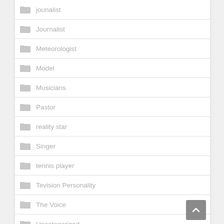jounalist
Journalist
Meteorologist
Model
Musicians
Pastor
reality star
Singer
tennis player
Tevision Personality
The Voice
Uncategorized